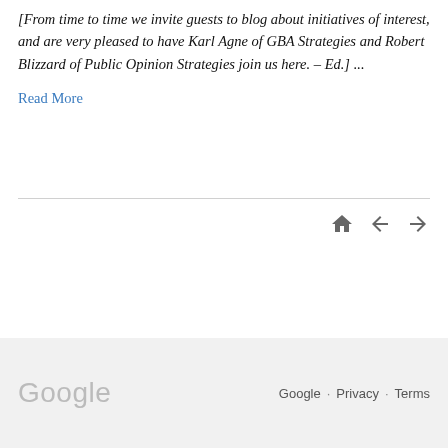[From time to time we invite guests to blog about initiatives of interest, and are very pleased to have Karl Agne of GBA Strategies and Robert Blizzard of Public Opinion Strategies join us here. – Ed.] ...
Read More
[Figure (other): Navigation icons: home, back arrow, forward arrow]
Google · Privacy · Terms